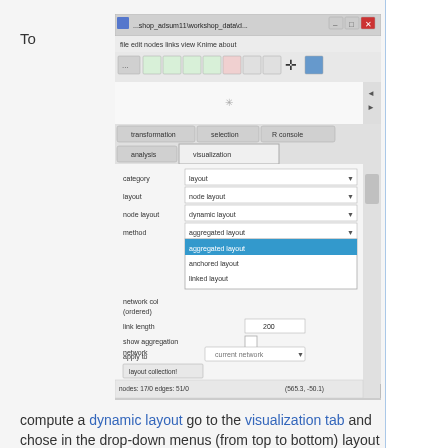To
[Figure (screenshot): Screenshot of a network analysis application (likely Gephi/KNIME-based tool) showing the visualization tab with layout options. A dropdown menu is open showing 'aggregated layout' (highlighted in blue), 'anchored layout', and 'linked layout'. Other visible controls include category (layout), layout (node layout), node layout (dynamic layout), link length (200), show aggregation network checkbox, and apply to (current network). At the bottom: nodes: 17/0 edges: 51/0 and coordinates (565.3, -50.1).]
compute a dynamic layout go to the visualization tab and chose in the drop-down menus (from top to bottom) layout